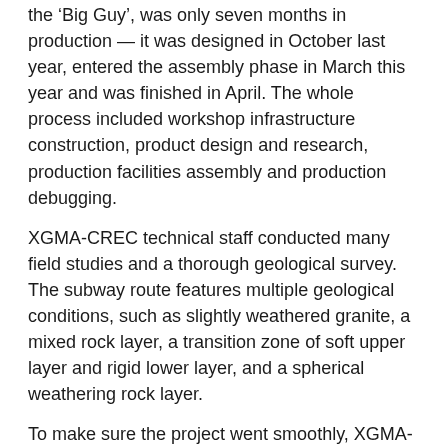the 'Big Guy', was only seven months in production — it was designed in October last year, entered the assembly phase in March this year and was finished in April. The whole process included workshop infrastructure construction, product design and research, production facilities assembly and production debugging.
XGMA-CREC technical staff conducted many field studies and a thorough geological survey. The subway route features multiple geological conditions, such as slightly weathered granite, a mixed rock layer, a transition zone of soft upper layer and rigid lower layer, and a spherical weathering rock layer.
To make sure the project went smoothly, XGMA-CREC made detailed construction period plans, set up a project management team and developed a sound quality-control system to allow for the real-time supervision of design and manufacturing.